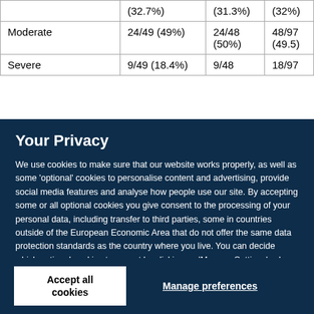|  | Group A | Group B | Total |
| --- | --- | --- | --- |
|  | (32.7%) | (31.3%) | (32%) |
| Moderate | 24/49 (49%) | 24/48 (50%) | 48/97 (49.5) |
| Severe | 9/49 (18.4%) | 9/48 | 18/97 |
Your Privacy
We use cookies to make sure that our website works properly, as well as some 'optional' cookies to personalise content and advertising, provide social media features and analyse how people use our site. By accepting some or all optional cookies you give consent to the processing of your personal data, including transfer to third parties, some in countries outside of the European Economic Area that do not offer the same data protection standards as the country where you live. You can decide which optional cookies to accept by clicking on 'Manage Settings', where you can also find more information about how your personal data is processed. Further information can be found in our privacy policy.